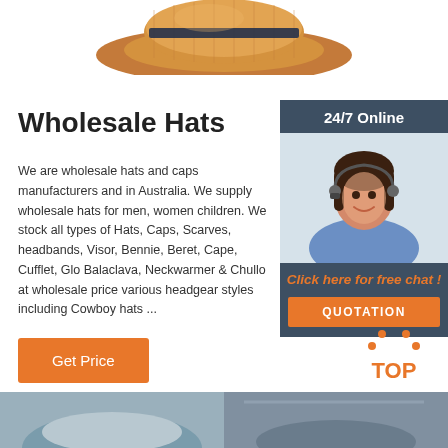[Figure (photo): Top of a brown woven straw hat with a navy band, viewed from above, partially cropped at the top of the page]
Wholesale Hats
We are wholesale hats and caps manufacturers and in Australia. We supply wholesale hats for men, women children. We stock all types of Hats, Caps, Scarves, headbands, Visor, Bennie, Beret, Cape, Cufflet, Gloves, Balaclava, Neckwarmer & Chullo at wholesale prices various headgear styles including Cowboy hats ...
[Figure (infographic): Sidebar widget: dark teal background with '24/7 Online' header, photo of a smiling woman with a headset, text 'Click here for free chat!' in orange italic, and an orange 'QUOTATION' button]
[Figure (other): Orange 'Get Price' button]
[Figure (logo): Orange dotted triangle 'TOP' back-to-top icon]
[Figure (photo): Two partial product photos at the bottom of the page showing hats]